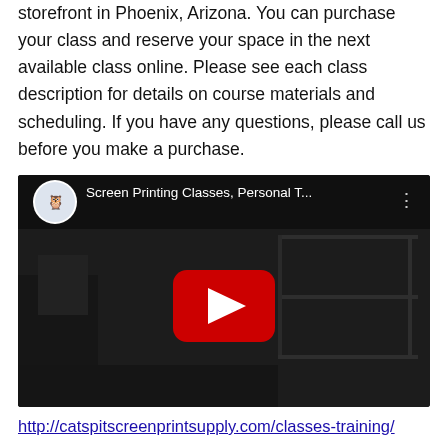storefront in Phoenix, Arizona. You can purchase your class and reserve your space in the next available class online. Please see each class description for details on course materials and scheduling. If you have any questions, please call us before you make a purchase.
[Figure (screenshot): YouTube video thumbnail showing 'Screen Printing Classes, Personal T...' with a channel avatar logo and a red play button, dark background showing screen printing equipment.]
http://catspitscreenprintsupply.com/classes-training/